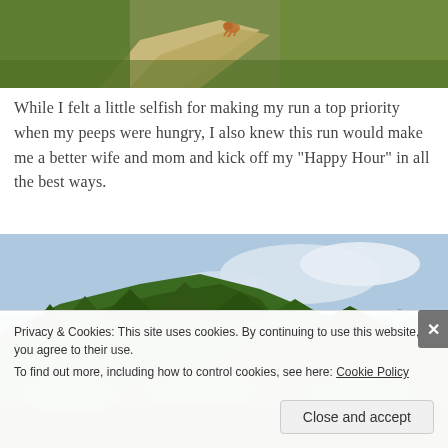[Figure (photo): Partial view of a trail with green grass and what appears to be a dog or animal on the path, shot from an angle]
While I felt a little selfish for making my run a top priority when my peeps were hungry, I also knew this run would make me a better wife and mom and kick off my “Happy Hour” in all the best ways.
[Figure (photo): Mountain landscape with forested hillside, green trees, and a partly cloudy sky with distant mountain ridges]
Privacy & Cookies: This site uses cookies. By continuing to use this website, you agree to their use.
To find out more, including how to control cookies, see here: Cookie Policy
Close and accept